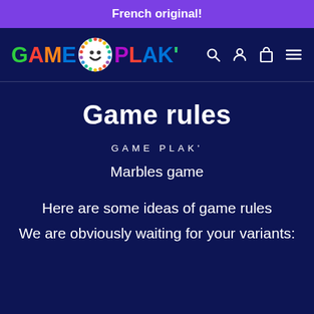French original!
[Figure (logo): GAME PLAK' colorful logo with a smiley-face marble ball in the center, followed by search, user, cart, and hamburger menu icons on a dark navy background]
Game rules
GAME PLAK'
Marbles game
Here are some ideas of game rules
We are obviously waiting for your variants: